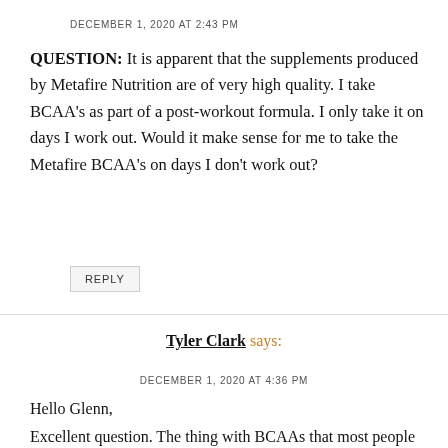DECEMBER 1, 2020 AT 2:43 PM
QUESTION: It is apparent that the supplements produced by Metafire Nutrition are of very high quality. I take BCAA's as part of a post-workout formula. I only take it on days I work out. Would it make sense for me to take the Metafire BCAA's on days I don't work out?
REPLY
Tyler Clark says:
DECEMBER 1, 2020 AT 4:36 PM
Hello Glenn,
Excellent question. The thing with BCAAs that most people don't to…especially if